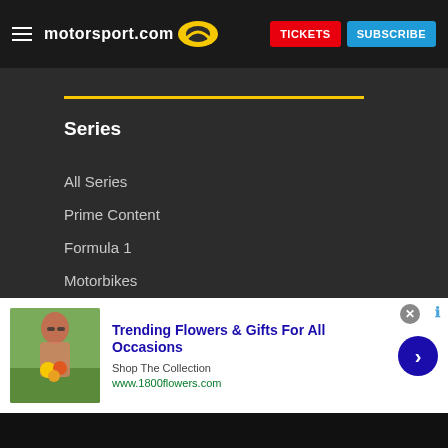motorsport.com — TICKETS | SUBSCRIBE
Series
All Series
Prime Content
Formula 1
Motorbikes
Open wheel
NASCAR
WEC - Sportscar
List of all series
[Figure (screenshot): Advertisement banner for 1800flowers.com: 'Trending Flowers & Gifts For All Occasions', Shop The Collection, www.1800flowers.com, with image of woman holding flowers and a blue arrow button.]